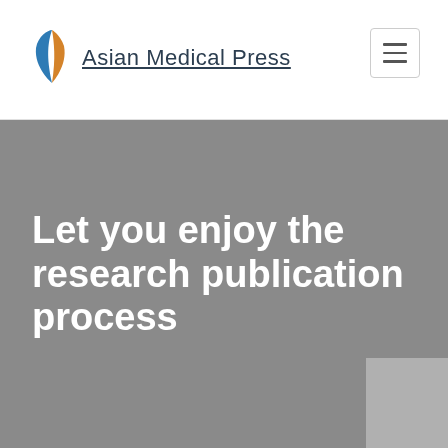[Figure (logo): Asian Medical Press logo with stylized leaf/plant icon in blue and orange, followed by the text 'Asian Medical Press' underlined]
[Figure (other): Hamburger menu button (three horizontal lines) in top right corner with border]
[Figure (photo): Grey hero banner background image]
Let you enjoy the research publication process